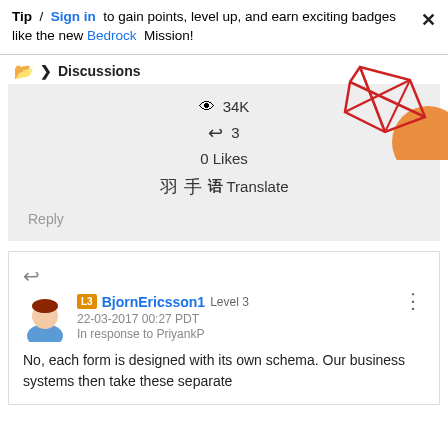Tip / Sign in to gain points, level up, and earn exciting badges like the new Bedrock Mission!
Discussions
34K
3
0 Likes
Translate
Reply
[Figure (illustration): Decorative geometric red line art with orange circle, top right corner]
BjornEricsson1 Level 3
22-03-2017 00:27 PDT
In response to PriyankP
No, each form is designed with its own schema. Our business systems then take these separate